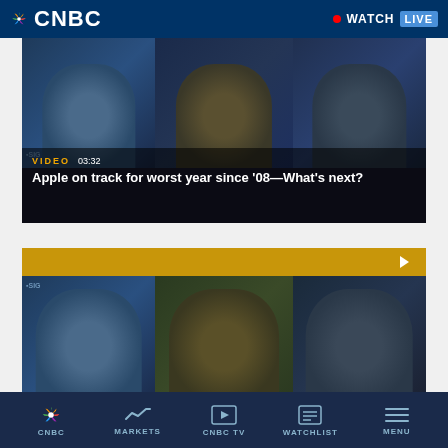CNBC — WATCH LIVE
[Figure (screenshot): Video thumbnail showing three TV anchors in a studio setting. Yellow label reads VIDEO 03:32. Title overlay: Apple on track for worst year since '08—What's next?]
[Figure (screenshot): Second video thumbnail showing the same three anchors. Gold bar across top with play button on the right.]
CNBC | MARKETS | CNBC TV | WATCHLIST | MENU